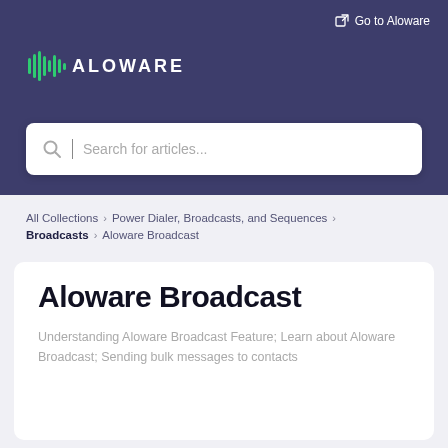Go to Aloware
[Figure (logo): Aloware logo with sound wave icon and text ALOWARE in white on dark purple background]
Search for articles...
All Collections > Power Dialer, Broadcasts, and Sequences > Broadcasts > Aloware Broadcast
Aloware Broadcast
Understanding Aloware Broadcast Feature; Learn about Aloware Broadcast; Sending bulk messages to contacts